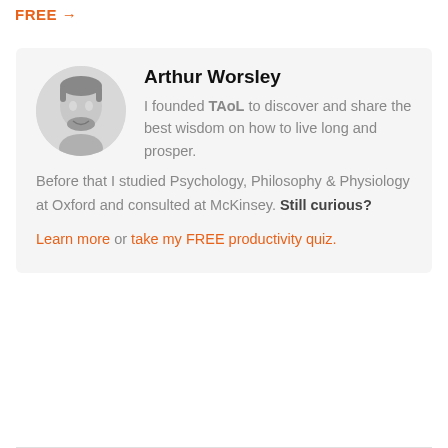FREE →
Arthur Worsley
I founded TAoL to discover and share the best wisdom on how to live long and prosper. Before that I studied Psychology, Philosophy & Physiology at Oxford and consulted at McKinsey. Still curious? Learn more or take my FREE productivity quiz.
[Figure (photo): Circular black-and-white headshot photo of Arthur Worsley, a young man with short hair and a beard, smiling.]